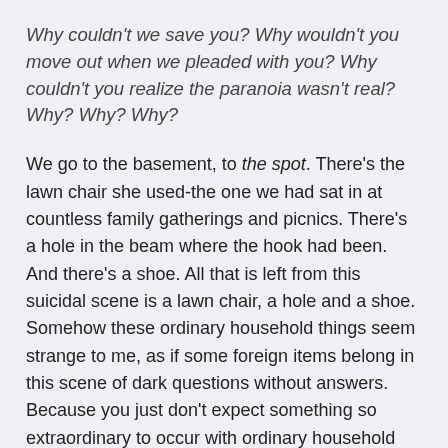Why couldn't we save you? Why wouldn't you move out when we pleaded with you? Why couldn't you realize the paranoia wasn't real? Why? Why? Why?
We go to the basement, to the spot. There's the lawn chair she used-the one we had sat in at countless family gatherings and picnics. There's a hole in the beam where the hook had been. And there's a shoe. All that is left from this suicidal scene is a lawn chair, a hole and a shoe. Somehow these ordinary household things seem strange to me, as if some foreign items belong in this scene of dark questions without answers. Because you just don't expect something so extraordinary to occur with ordinary household items of lawn chairs and ladder hooks.
We look for clues, for notes, for anything that might give us some answers. We come up mostly short, but we do find a message written on the envelope containing her will. She writes that she wants us to be happy. To live and enjoy our